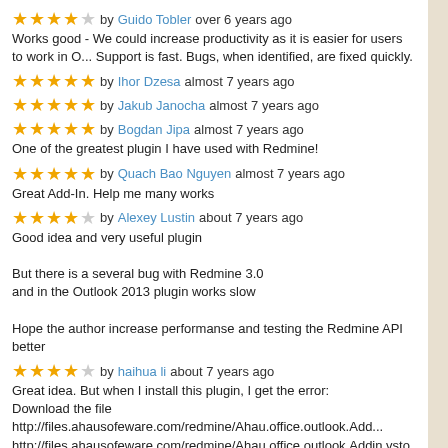★★★★☆ by Guido Tobler over 6 years ago
Works good - We could increase productivity as it is easier for users to work in O... Support is fast. Bugs, when identified, are fixed quickly.
★★★★★ by Ihor Dzesa almost 7 years ago
★★★★★ by Jakub Janocha almost 7 years ago
★★★★★ by Bogdan Jipa almost 7 years ago
One of the greatest plugin I have used with Redmine!
★★★★★ by Quach Bao Nguyen almost 7 years ago
Great Add-In. Help me many works
★★★★☆ by Alexey Lustin about 7 years ago
Good idea and very useful plugin

But there is a several bug with Redmine 3.0 and in the Outlook 2013 plugin works slow

Hope the author increase performanse and testing the Redmine API better
★★★★☆ by haihua li about 7 years ago
Great idea. But when I install this plugin, I get the error:
Download the file http://files.ahausofeware.com/redmine/Ahau.office.outlook.Add...
http://files.ahausofeware.com/redmine/Ahau.office.outlook.Addin.vsto fail.